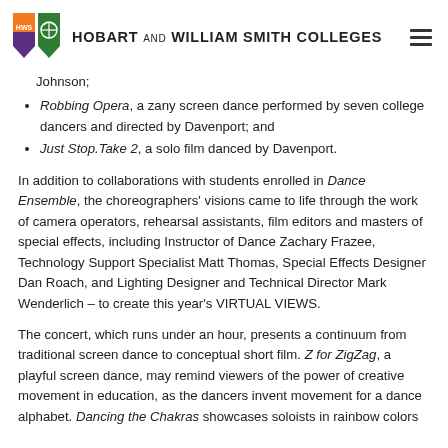HOBART AND WILLIAM SMITH COLLEGES
Johnson;
Robbing Opera, a zany screen dance performed by seven college dancers and directed by Davenport; and
Just Stop.Take 2, a solo film danced by Davenport.
In addition to collaborations with students enrolled in Dance Ensemble, the choreographers' visions came to life through the work of camera operators, rehearsal assistants, film editors and masters of special effects, including Instructor of Dance Zachary Frazee, Technology Support Specialist Matt Thomas, Special Effects Designer Dan Roach, and Lighting Designer and Technical Director Mark Wenderlich – to create this year's VIRTUAL VIEWS.
The concert, which runs under an hour, presents a continuum from traditional screen dance to conceptual short film. Z for ZigZag, a playful screen dance, may remind viewers of the power of creative movement in education, as the dancers invent movement for a dance alphabet. Dancing the Chakras showcases soloists in rainbow colors